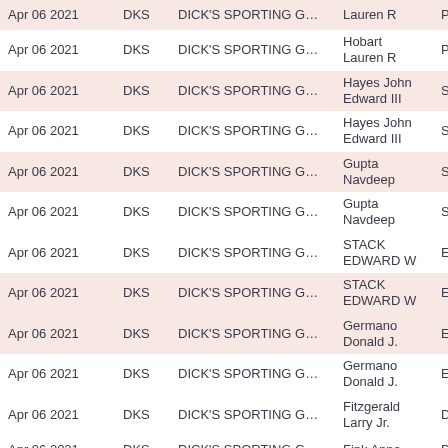| Date | Ticker | Company | Name | Title |
| --- | --- | --- | --- | --- |
| Apr 06 2021 | DKS | DICK'S SPORTING GO ... | Lauren R | Presiden |
| Apr 06 2021 | DKS | DICK'S SPORTING GO ... | Hobart
Lauren R | Presiden |
| Apr 06 2021 | DKS | DICK'S SPORTING GO ... | Hayes John
Edward III | SVP, Gen |
| Apr 06 2021 | DKS | DICK'S SPORTING GO ... | Hayes John
Edward III | SVP, Gen |
| Apr 06 2021 | DKS | DICK'S SPORTING GO ... | Gupta
Navdeep | See Rem |
| Apr 06 2021 | DKS | DICK'S SPORTING GO ... | Gupta
Navdeep | See Rem |
| Apr 06 2021 | DKS | DICK'S SPORTING GO ... | STACK
EDWARD W | Executive |
| Apr 06 2021 | DKS | DICK'S SPORTING GO ... | STACK
EDWARD W | Executive |
| Apr 06 2021 | DKS | DICK'S SPORTING GO ... | Germano
Donald J. | EVP, Stor |
| Apr 06 2021 | DKS | DICK'S SPORTING GO ... | Germano
Donald J. | EVP, Stor |
| Apr 06 2021 | DKS | DICK'S SPORTING GO ... | Fitzgerald
Larry Jr. | Director |
| Apr 06 2021 | DKS | DICK'S SPORTING GO ... | Fink Anne | Director |
| Apr 06 2021 | DKS | DICK'S SPORTING GO ... | COLOMBO
WILLIAM J | Director |
| Apr 06 2021 | DKS | DICK'S SPORTING GO ... | CHIRICO
EMANUEL | Director |